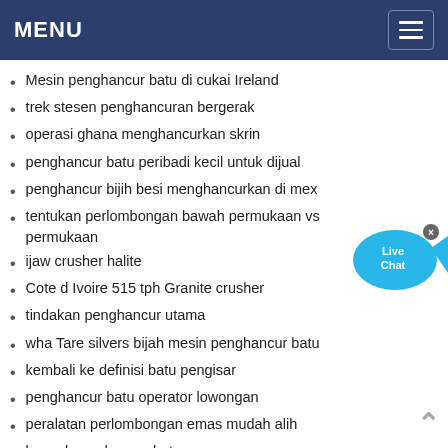MENU
Mesin penghancur batu di cukai Ireland
trek stesen penghancuran bergerak
operasi ghana menghancurkan skrin
penghancur batu peribadi kecil untuk dijual
penghancur bijih besi menghancurkan di mex
tentukan perlombongan bawah permukaan vs permukaan
ijaw crusher halite
Cote d Ivoire 515 tph Granite crusher
tindakan penghancur utama
wha Tare silvers bijih mesin penghancur batu
kembali ke definisi batu pengisar
penghancur batu operator lowongan
peralatan perlombongan emas mudah alih
bansal penghancur batu